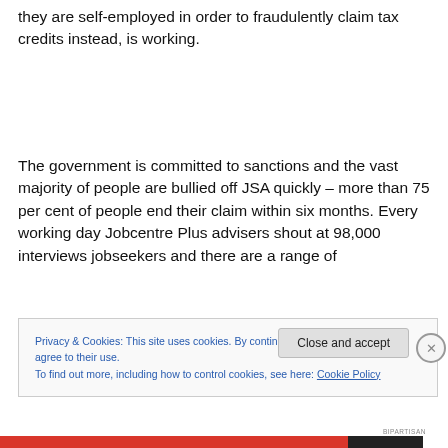they are self-employed in order to fraudulently claim tax credits instead, is working.
The government is committed to sanctions and the vast majority of people are bullied off JSA quickly – more than 75 per cent of people end their claim within six months. Every working day Jobcentre Plus advisers shout at 98,000 interviews jobseekers and there are a range of
Privacy & Cookies: This site uses cookies. By continuing to use this website, you agree to their use.
To find out more, including how to control cookies, see here: Cookie Policy
Close and accept